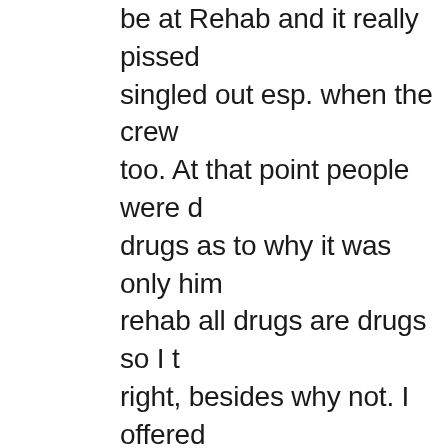be at Rehab and it really pissed singled out esp. when the crew too. At that point people were drugs as to why it was only him rehab all drugs are drugs so I t right, besides why not. I offered would help in any way (work friends suck it up and help eac not blaming if we knew then u now.

Bottom line they both had to u they were convinced that only mixed alcohol and heroin (as in drunk you forget what and how used) is the only thing that cou

As for the book both Mike and they wanted to sue her becaus lier. If you know both it is obvi